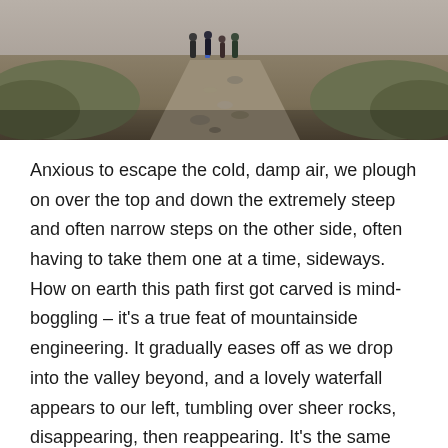[Figure (photo): A photograph showing hikers on a rocky mountain path, with stones lining the trail, grassy terrain on either side, and figures visible in the background near the top of a pass.]
Anxious to escape the cold, damp air, we plough on over the top and down the extremely steep and often narrow steps on the other side, often having to take them one at a time, sideways. How on earth this path first got carved is mind-boggling – it's a true feat of mountainside engineering. It gradually eases off as we drop into the valley beyond, and a lovely waterfall appears to our left, tumbling over sheer rocks, disappearing, then reappearing. It's the same river that flows past our campsite at Pacamayo, six hundred metres below the pass, where we arrive for a very late lunch at about 3pm. The heavens open and it rains heavily as we sit down, and quickly gathers into deep pools on the tent roof. Benedicto has once again worked wonders in his camp kitchen, without an oven somehow m aking pizza slices as an